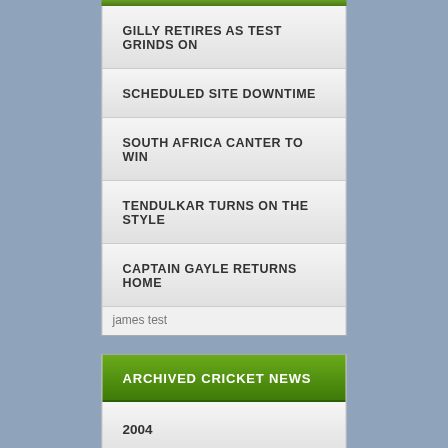GILLY RETIRES AS TEST GRINDS ON
SCHEDULED SITE DOWNTIME
SOUTH AFRICA CANTER TO WIN
TENDULKAR TURNS ON THE STYLE
CAPTAIN GAYLE RETURNS HOME
james test
ARCHIVED CRICKET NEWS
2004
2005
2006